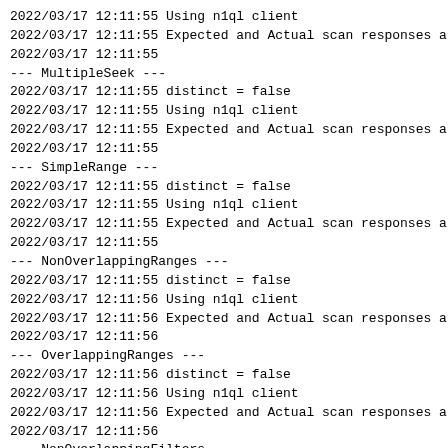2022/03/17 12:11:55 Using n1ql client
2022/03/17 12:11:55 Expected and Actual scan responses ar
2022/03/17 12:11:55
--- MultipleSeek ---
2022/03/17 12:11:55 distinct = false
2022/03/17 12:11:55 Using n1ql client
2022/03/17 12:11:55 Expected and Actual scan responses ar
2022/03/17 12:11:55
--- SimpleRange ---
2022/03/17 12:11:55 distinct = false
2022/03/17 12:11:55 Using n1ql client
2022/03/17 12:11:55 Expected and Actual scan responses ar
2022/03/17 12:11:55
--- NonOverlappingRanges ---
2022/03/17 12:11:55 distinct = false
2022/03/17 12:11:56 Using n1ql client
2022/03/17 12:11:56 Expected and Actual scan responses ar
2022/03/17 12:11:56
--- OverlappingRanges ---
2022/03/17 12:11:56 distinct = false
2022/03/17 12:11:56 Using n1ql client
2022/03/17 12:11:56 Expected and Actual scan responses ar
2022/03/17 12:11:56
--- NonOverlappingFilters ---
2022/03/17 12:11:56 distinct = false
2022/03/17 12:11:57 Using n1ql client
2022/03/17 12:11:57 Expected and Actual scan responses ar
2022/03/17 12:11:57
--- OverlappingFilters ---
2022/03/17 12:11:57 distinct = false